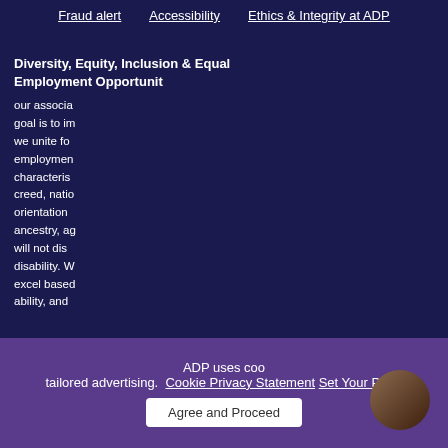Fraud alert   Accessibility   Ethics & Integrity at ADP
Diversity, Equity, Inclusion & Equal Employment Opportunity
our associa... goal is to im... we unite fo... employment characteristics creed, natio... orientation ancestry, ag... will not dis... disability. W... excel based ability, and
[Figure (screenshot): ADP A.V.A. chatbot popup window showing header with avatar and ADP logo, timestamp 'Aug 20, 2022 at 9:59 AM', bot message 'Hi! I'm A.V.A., ADP's virtual assistant! You can ask me anything about our business, culture, team and more. I can also help you search for jobs.', a text input area with 'Type a message' placeholder and a red 'Send' button, and footer with 'Terms | Powered by Paradox']
ADP uses coo... tailored advertising.
Cookie Privacy Statement   Set Your Preferences
Agree and Proceed